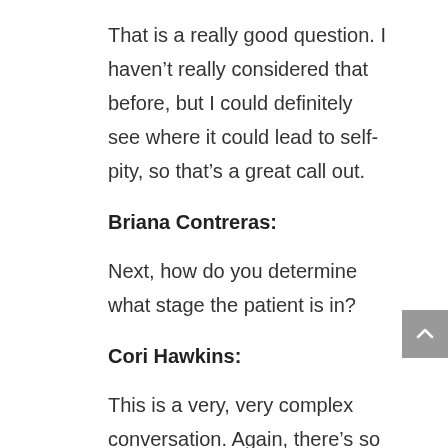That is a really good question. I haven’t really considered that before, but I could definitely see where it could lead to self-pity, so that’s a great call out.
Briana Contreras:
Next, how do you determine what stage the patient is in?
Cori Hawkins:
This is a very, very complex conversation. Again, there’s so much content available and so much more education to really be able to master this concept. But really it’s about